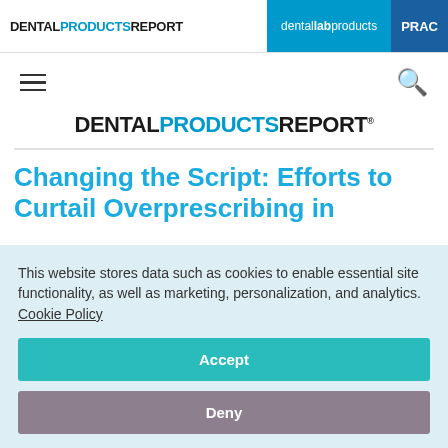DENTAL PRODUCTS REPORT | dental lab products | PRAC
[Figure (logo): Dental Products Report logo with navigation bar including dental lab products and PRAC links]
[Figure (logo): Main Dental Products Report large logo centered]
Changing the Script: Efforts to Curtail Overprescribing in
This website stores data such as cookies to enable essential site functionality, as well as marketing, personalization, and analytics. Cookie Policy
Accept
Deny